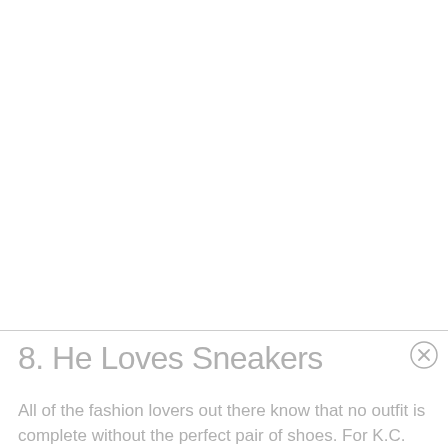[Figure (photo): Large white/blank image area occupying the top portion of the page]
8. He Loves Sneakers
All of the fashion lovers out there know that no outfit is complete without the perfect pair of shoes. For K.C. that